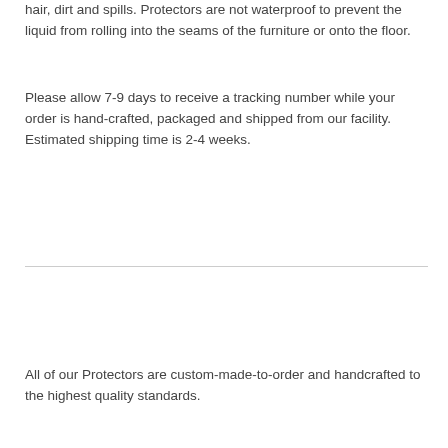hair, dirt and spills. Protectors are not waterproof to prevent the liquid from rolling into the seams of the furniture or onto the floor.
Please allow 7-9 days to receive a tracking number while your order is hand-crafted, packaged and shipped from our facility. Estimated shipping time is 2-4 weeks.
All of our Protectors are custom-made-to-order and handcrafted to the highest quality standards.